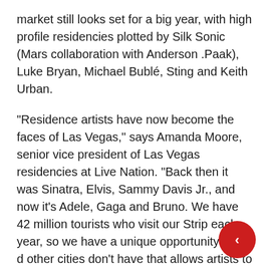market still looks set for a big year, with high profile residencies plotted by Silk Sonic (Mars collaboration with Anderson .Paak), Luke Bryan, Michael Bublé, Sting and Keith Urban.
“Residence artists have now become the faces of Las Vegas,” says Amanda Moore, senior vice president of Las Vegas residencies at Live Nation. “Back then it was Sinatra, Elvis, Sammy Davis Jr., and now it’s Adele, Gaga and Bruno. We have 42 million tourists who visit our Strip each year, so we have a unique opportunity that d other cities don’t have that allows artists to make Las Vegas a second home for their fans to come to them in. Fans love the “only in Vegas” experience of seeing their favorite artists in beautiful, intimate theaters that host live extraordinary productions.Our in-